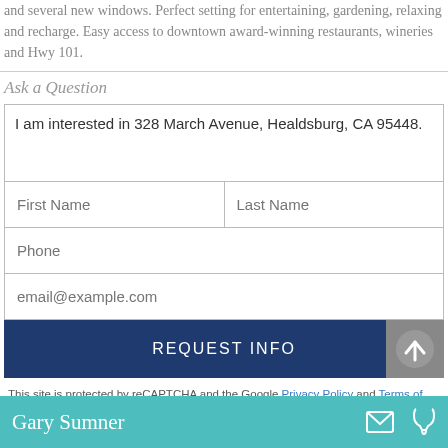and several new windows. Perfect setting for entertaining, gardening, relaxing and recharge. Easy access to downtown award-winning restaurants, wineries and Hwy 101.
Ask a Question
I am interested in 328 March Avenue, Healdsburg, CA 95448.
First Name
Last Name
Phone
email@example.com
REQUEST INFO
This site is protected by reCAPTCHA and the Google Privacy Policy and Terms of Service apply.
Gary Sumner